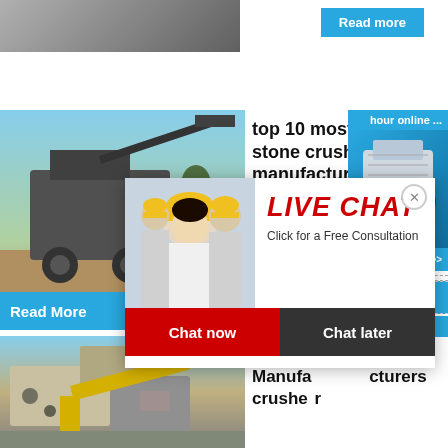[Figure (photo): Partial top strip: industrial/mining equipment photo on left, 'Read more' blue button on right]
[Figure (photo): Stone crushing machinery at a mining/quarry site with blue sky background]
top 10 most popular stone crusher manufacturers in india
[Figure (photo): Live chat overlay showing workers in yellow hard hats with 'LIVE CHAT' red italic text and 'Click for a Free Consultation' subtitle, Chat now (red) and Chat later (dark) buttons]
hour online ...
[Figure (photo): Jaw crusher machine product photo on right sidebar]
Click me to chat>>
Enquiry
limingjlmofen
Read More
[Figure (photo): Jaw crusher manufacturing facility photo, bottom left]
Jaw Crusher Manufacturers crusher